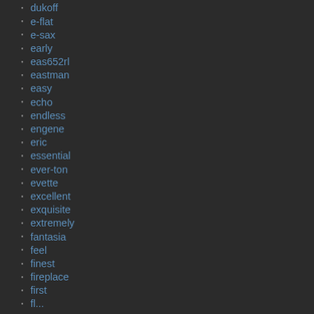dukoff
e-flat
e-sax
early
eas652rl
eastman
easy
echo
endless
engene
eric
essential
ever-ton
evette
excellent
exquisite
extremely
fantasia
feel
finest
fireplace
first
fl...